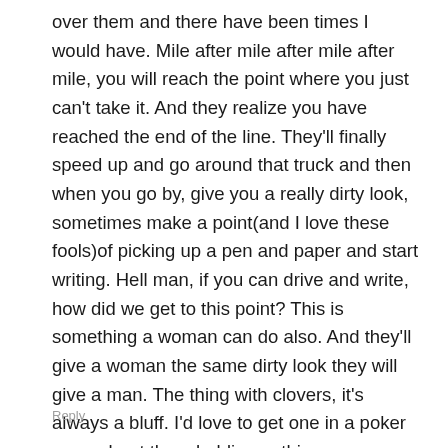over them and there have been times I would have. Mile after mile after mile after mile, you will reach the point where you just can't take it. And they realize you have reached the end of the line. They'll finally speed up and go around that truck and then when you go by, give you a really dirty look, sometimes make a point(and I love these fools)of picking up a pen and paper and start writing. Hell man, if you can drive and write, how did we get to this point? This is something a woman can do also. And they'll give a woman the same dirty look they will give a man. The thing with clovers, it's always a bluff. I'd love to get one in a poker game, beat them holding nothing every hand.
Reply